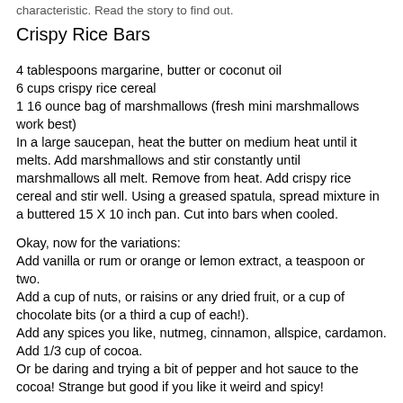characteristic. Read the story to find out.
Crispy Rice Bars
4 tablespoons margarine, butter or coconut oil
6 cups crispy rice cereal
1 16 ounce bag of marshmallows (fresh mini marshmallows work best)
In a large saucepan, heat the butter on medium heat until it melts. Add marshmallows and stir constantly until marshmallows all melt. Remove from heat. Add crispy rice cereal and stir well. Using a greased spatula, spread mixture in a buttered 15 X 10 inch pan. Cut into bars when cooled.
Okay, now for the variations:
Add vanilla or rum or orange or lemon extract, a teaspoon or two.
Add a cup of nuts, or raisins or any dried fruit, or a cup of chocolate bits (or a third a cup of each!).
Add any spices you like, nutmeg, cinnamon, allspice, cardamon.
Add 1/3 cup of cocoa.
Or be daring and trying a bit of pepper and hot sauce to the cocoa! Strange but good if you like it weird and spicy!